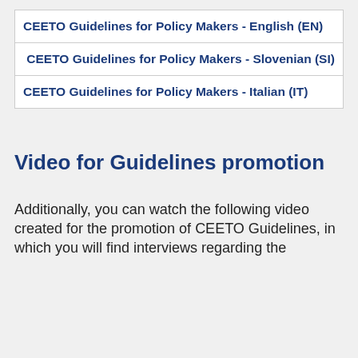| CEETO Guidelines for Policy Makers - English (EN) |
|  CEETO Guidelines for Policy Makers - Slovenian (SI) |
| CEETO Guidelines for Policy Makers - Italian (IT) |
Video for Guidelines promotion
Additionally, you can watch the following video created for the promotion of CEETO Guidelines, in which you will find interviews regarding the